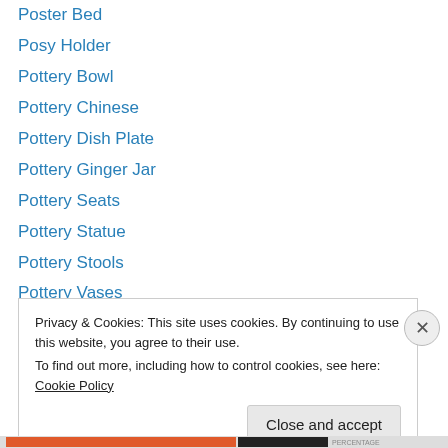Poster Bed
Posy Holder
Pottery Bowl
Pottery Chinese
Pottery Dish Plate
Pottery Ginger Jar
Pottery Seats
Pottery Statue
Pottery Stools
Pottery Vases
Pug Dog Trinket
Punch Bowl
Queen Anne Chairs
Privacy & Cookies: This site uses cookies. By continuing to use this website, you agree to their use. To find out more, including how to control cookies, see here: Cookie Policy
Close and accept